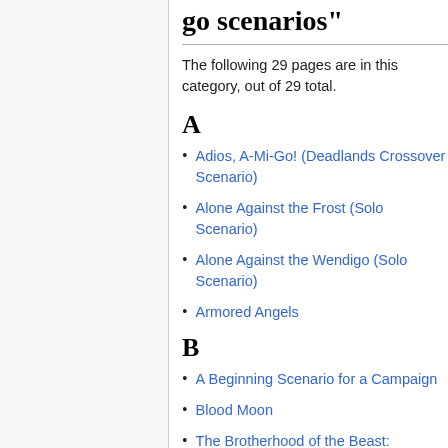go scenarios"
The following 29 pages are in this category, out of 29 total.
A
Adios, A-Mi-Go! (Deadlands Crossover Scenario)
Alone Against the Frost (Solo Scenario)
Alone Against the Wendigo (Solo Scenario)
Armored Angels
B
A Beginning Scenario for a Campaign
Blood Moon
The Brotherhood of the Beast: Mountains of the Moon